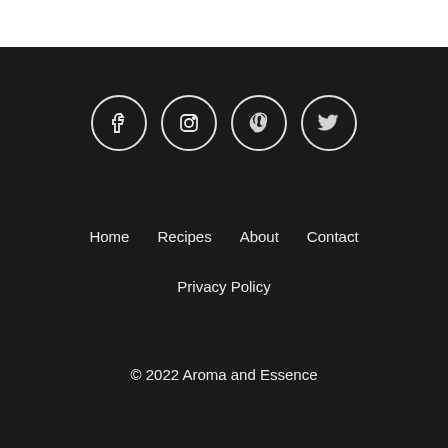[Figure (other): Four social media icon circles in a row: Facebook, Instagram, Pinterest, Twitter]
Home   Recipes   About   Contact
Privacy Policy
© 2022 Aroma and Essence